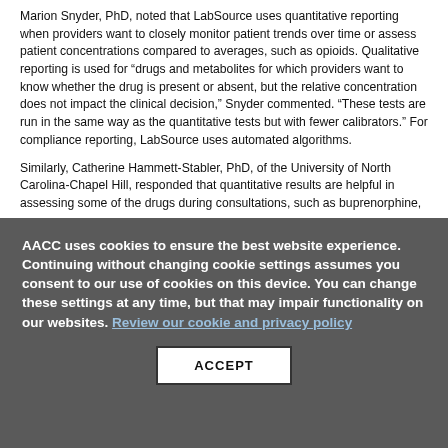Marion Snyder, PhD, noted that LabSource uses quantitative reporting when providers want to closely monitor patient trends over time or assess patient concentrations compared to averages, such as opioids. Qualitative reporting is used for “drugs and metabolites for which providers want to know whether the drug is present or absent, but the relative concentration does not impact the clinical decision,” Snyder commented. “These tests are run in the same way as the quantitative tests but with fewer calibrators.” For compliance reporting, LabSource uses automated algorithms.
Similarly, Catherine Hammett-Stabler, PhD, of the University of North Carolina-Chapel Hill, responded that quantitative results are helpful in assessing some of the drugs during consultations, such as buprenorphine,
AACC uses cookies to ensure the best website experience. Continuing without changing cookie settings assumes you consent to our use of cookies on this device. You can change these settings at any time, but that may impair functionality on our websites. Review our cookie and privacy policy
ACCEPT